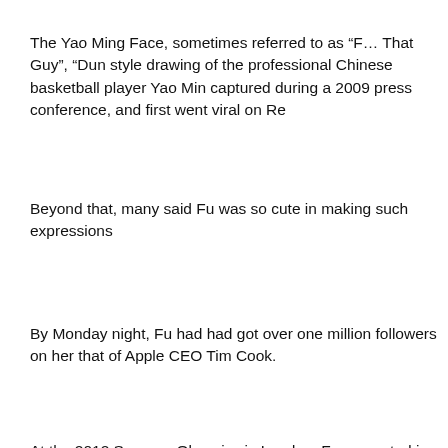The Yao Ming Face, sometimes referred to as “F… That Guy”, “Dun style drawing of the professional Chinese basketball player Yao Min captured during a 2009 press conference, and first went viral on Re
Beyond that, many said Fu was so cute in making such expressions
By Monday night, Fu had had got over one million followers on her that of Apple CEO Tim Cook.
At the 2012 Summer Olympics in London, Fu competed in the Wom the 8th place in the heats and qualifying for the semifinals. She wor Aquatics Championship in 2015 and helped China win the 4x100 m